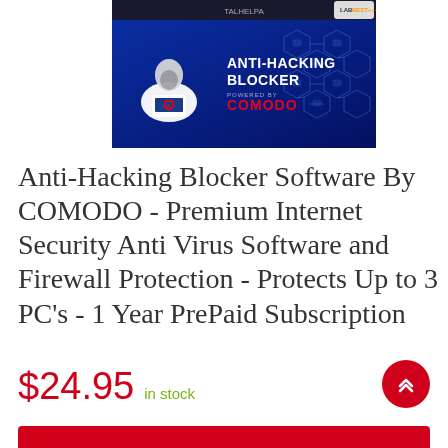[Figure (illustration): Product banner image showing Anti-Hacking Blocker powered by COMODO on a blue background with hexagonal padlock network graphics and a hacker figure icon]
Anti-Hacking Blocker Software By COMODO - Premium Internet Security Anti Virus Software and Firewall Protection - Protects Up to 3 PC's - 1 Year PrePaid Subscription
$24.95 in stock